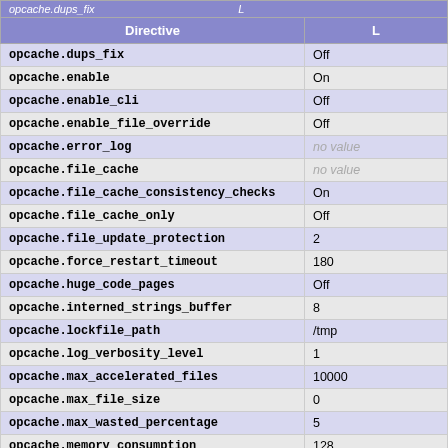| Directive | L |
| --- | --- |
| opcache.dups_fix | Off |
| opcache.enable | On |
| opcache.enable_cli | Off |
| opcache.enable_file_override | Off |
| opcache.error_log | no value |
| opcache.file_cache | no value |
| opcache.file_cache_consistency_checks | On |
| opcache.file_cache_only | Off |
| opcache.file_update_protection | 2 |
| opcache.force_restart_timeout | 180 |
| opcache.huge_code_pages | Off |
| opcache.interned_strings_buffer | 8 |
| opcache.lockfile_path | /tmp |
| opcache.log_verbosity_level | 1 |
| opcache.max_accelerated_files | 10000 |
| opcache.max_file_size | 0 |
| opcache.max_wasted_percentage | 5 |
| opcache.memory_consumption | 128 |
| opcache.opt_debug_level | 0 |